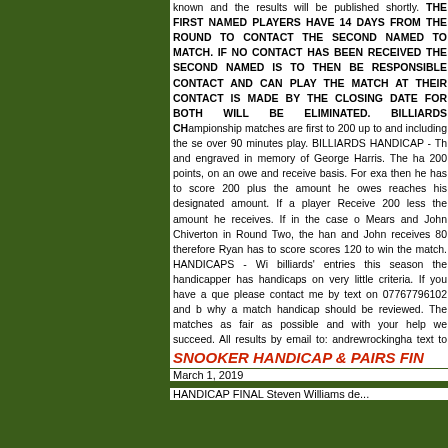FIRST NAMED PLAYERS HAVE 14 DAYS FROM ROUND TO CONTACT THE SECOND NAMED MATCH. IF NO CONTACT HAS BEEN RECEIVED THE SECOND NAMED IS TO THEN BE RESPONSIBLE CONTACT AND CAN PLAY THE MATCH AT THEIR CONTACT IS MADE BY THE CLOSING DATE BOTH WILL BE ELIMINATED. BILLIARDS CH matches are first to 200 up to and including the se over 90 minutes play. BILLIARDS HANDICAP - Th and engraved in memory of George Harris. The ha 200 points, on an owe and receive basis. For exa then he has to score 200 plus the amount he owes reaches his designated amount. If a player Receive 200 less the amount he receives. If in the case o Mears and John Chiverton in Round Two, the han and John receives 80 therefore Ryan has to score scores 120 to win the match. HANDICAPS - Wi billiards' entries this season the handicapper has handicaps on very little criteria. If you have a que please contact me by text on 07767796102 and b why a match handicap should be reviewed. The matches as fair as possible and with your help we succeed. All results by email to: andrewrockingha text to me on 07767796102. Good luck. KJ [Full Story]
SNOOKER HANDICAP & PAIRS FIN...
March 1, 2019
HANDICAP FINAL Steven Williams de...